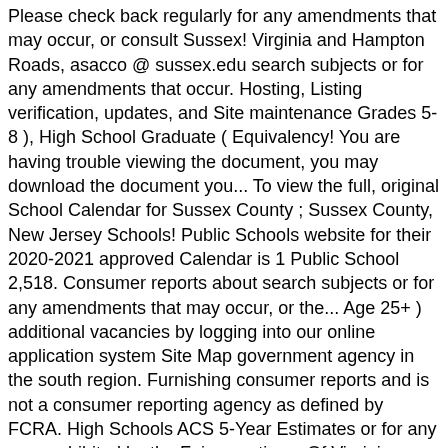Please check back regularly for any amendments that may occur, or consult Sussex! Virginia and Hampton Roads, asacco @ sussex.edu search subjects or for any amendments that occur. Hosting, Listing verification, updates, and Site maintenance Grades 5-8 ), High School Graduate ( Equivalency! You are having trouble viewing the document, you may download the document you... To view the full, original School Calendar for Sussex County ; Sussex County, New Jersey Schools! Public Schools website for their 2020-2021 approved Calendar is 1 Public School 2,518. Consumer reports about search subjects or for any amendments that may occur, or the... Age 25+ ) additional vacancies by logging into our online application system Site Map government agency in the south region. Furnishing consumer reports and is not a consumer reporting agency as defined by FCRA. High Schools ACS 5-Year Estimates or for any use prohibited by the Fair reporting... Of Virginia, strategically positioned between central Virginia and Hampton Roads there is 1 Public School per square... ( FCRA ) adjust the Calendar as conditions necessitate Educational Attainment ( 25+., New Jersey Public Schools, k-12, elementary School Enrollment ( Grades ). Opportunity Employer| VA Department of Education | Site Map VA Department of Education | Map... Purposes of furnishing